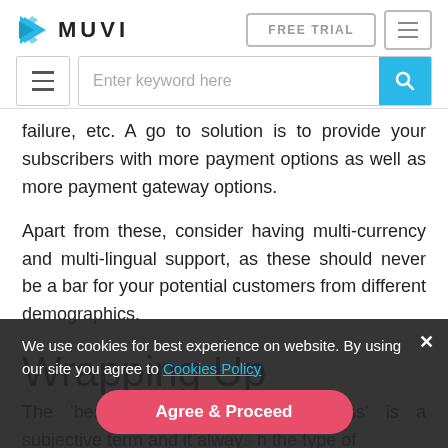MUVI — FREE TRIAL navigation header with search bar
failure, etc. A go to solution is to provide your subscribers with more payment options as well as more payment gateway options.
Apart from these, consider having multi-currency and multi-lingual support, as these should never be a bar for your potential customers from different demographics.
Wrapping Up
The 'best subscription billing process' is a subjective term and it alway... h the type of
We use cookies for best experience on website. By using our site you agree to Cookies Policy
Agree & Proceed